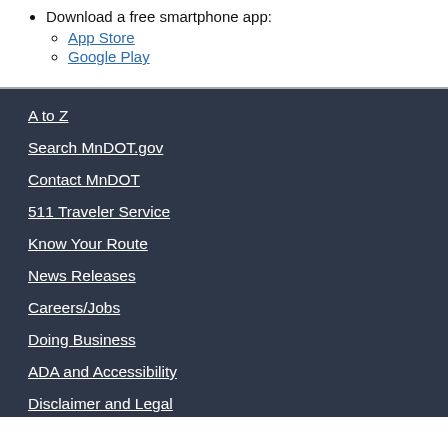Download a free smartphone app:
App Store
Google Play
A to Z
Search MnDOT.gov
Contact MnDOT
511 Traveler Service
Know Your Route
News Releases
Careers/Jobs
Doing Business
ADA and Accessibility
Disclaimer and Legal
About MnDOT